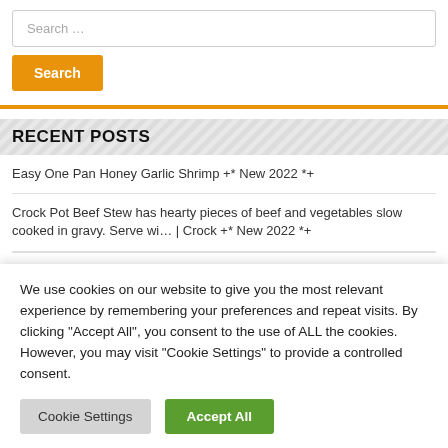[Figure (screenshot): Search input field with placeholder text 'Search ...' and an orange Search button below it]
RECENT POSTS
Easy One Pan Honey Garlic Shrimp +* New 2022 *+
Crock Pot Beef Stew has hearty pieces of beef and vegetables slow cooked in gravy. Serve wi... | Crock +* New 2022 *+
15 Minute Creamy Shrimp Pasta (Korean Rosé Pasta) +* New 2022 *+
We use cookies on our website to give you the most relevant experience by remembering your preferences and repeat visits. By clicking "Accept All", you consent to the use of ALL the cookies. However, you may visit "Cookie Settings" to provide a controlled consent.